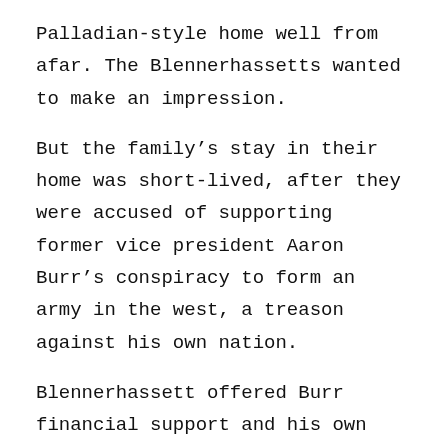Palladian-style home well from afar. The Blennerhassetts wanted to make an impression.
But the family’s stay in their home was short-lived, after they were accused of supporting former vice president Aaron Burr’s conspiracy to form an army in the west, a treason against his own nation.
Blennerhassett offered Burr financial support and his own home as a base of operations, and with militia coming to the island, the family deserted their homestead in 1807.
In March 1811, the island was under the ownership of Thomas Neale, who farmed hemp on the land and used the mansion to store around 20 tons of his crop.